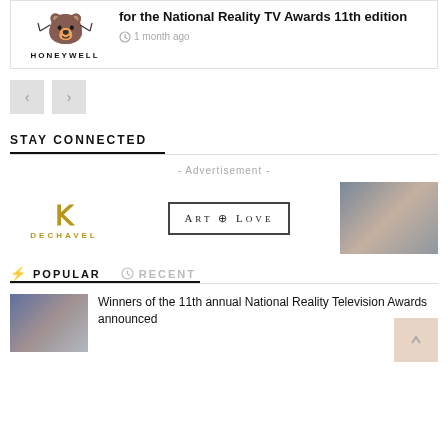[Figure (logo): Honeywell logo with bear/plant illustration and HONEYWELL text]
for the National Reality TV Awards 11th edition
1 month ago
[Figure (other): Navigation previous and next buttons]
STAY CONNECTED
- Advertisement -
[Figure (logo): Dechavel logo in gold with decorative icon]
[Figure (logo): Art of Love logo in bordered box]
[Figure (photo): Couple embracing photo]
POPULAR
RECENT
[Figure (photo): Group photo thumbnail for National Reality TV Awards article]
Winners of the 11th annual National Reality Television Awards announced